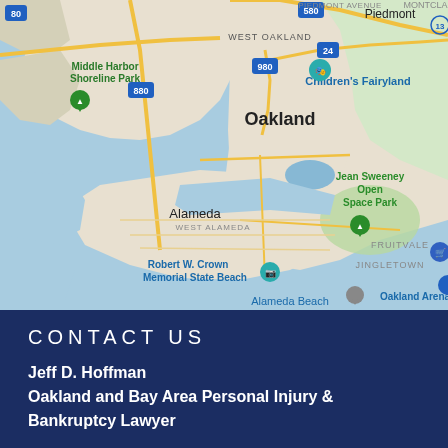[Figure (map): Google Maps screenshot showing Oakland, CA area including West Oakland, Alameda, Jean Sweeney Open Space Park, Children's Fairyland, Middle Harbor Shoreline Park, Robert W. Crown Memorial State Beach, Alameda Beach, Oakland Arena, Fruitvale, Jingletown, and surrounding waterways. Map shows major highways including 80, 580, 880, 980, and 24.]
CONTACT US
Jeff D. Hoffman
Oakland and Bay Area Personal Injury & Bankruptcy Lawyer